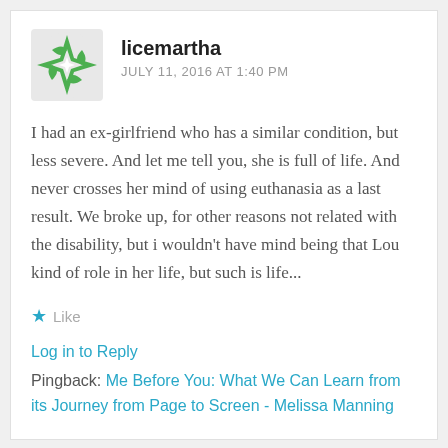licemartha — JULY 11, 2016 AT 1:40 PM
I had an ex-girlfriend who has a similar condition, but less severe. And let me tell you, she is full of life. And never crosses her mind of using euthanasia as a last result. We broke up, for other reasons not related with the disability, but i wouldn't have mind being that Lou kind of role in her life, but such is life...
Like
Log in to Reply
Pingback: Me Before You: What We Can Learn from its Journey from Page to Screen - Melissa Manning